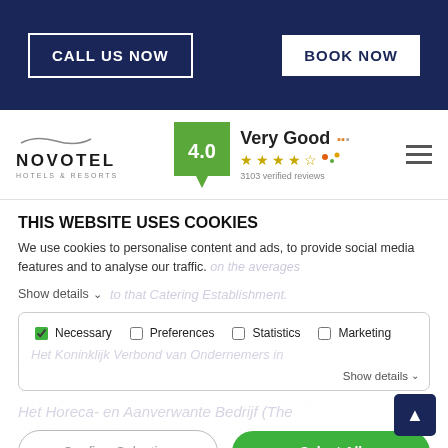[Figure (screenshot): Novotel hotel website header with dark navy background, 'CALL US NOW' button (outlined, white text) on the left and 'BOOK NOW' button (solid white, navy text) on the right]
[Figure (logo): Novotel Hotels & Resorts logo with swoosh, rating badge showing 4.0 Very Good with star rating and 3103 verified reviews, and hamburger menu icon]
(tourist tax) and VAT relating to a Catering Agreement concluded with a Customer which, on the averages to that Catering Establishment, Koninklijk Verbond van Ondernemers in Het Koninklijk Verbond van Ondernemers in Het Horeca- en Aanverwante Bedrijf (The ... in the Catering and Related Industries) known as
THIS WEBSITE USES COOKIES
We use cookies to personalise content and ads, to provide social media features and to analyse our traffic.
Show details ∨
Necessary  Preferences  Statistics  Marketing
Show details ∨
Confirm Selection   Select All
Catering and Related Industries) known as "Horeca Nederland" or any legal ...